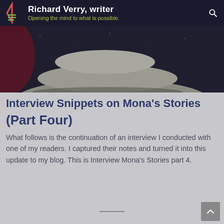Richard Verry, writer — Opening the mind to what is possible.
[Figure (photo): Dark background photo showing stacked balanced stones/rocks, partially visible, with reddish light on the left side]
Interview Snippets on Mona's Stories
(Part Four)
What follows is the continuation of an interview I conducted with one of my readers. I captured their notes and turned it into this update to my blog. This is Interview Mona's Stories part 4.